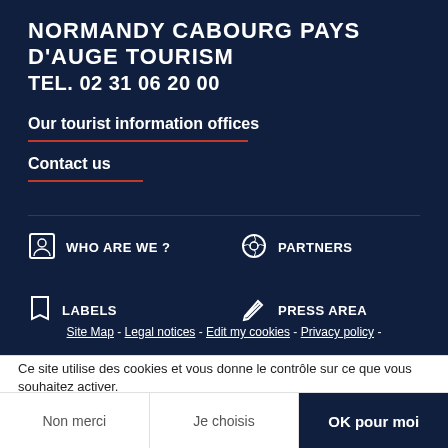NORMANDY CABOURG PAYS D'AUGE TOURISM
TEL. 02 31 06 20 00
Our tourist information offices
Contact us
WHO ARE WE ?
PARTNERS
LABELS
PRESS AREA
Site Map - Legal notices - Edit my cookies - Privacy policy -
Ce site utilise des cookies et vous donne le contrôle sur ce que vous souhaitez activer.
Non merci
Je choisis
OK pour moi